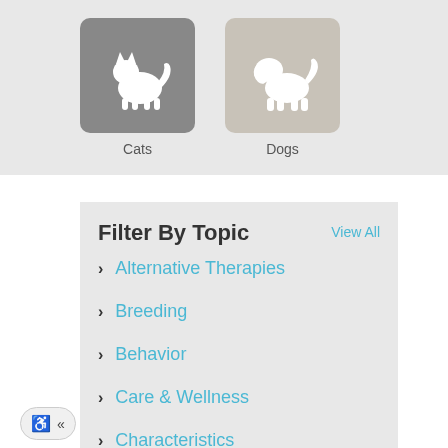[Figure (illustration): Two animal category icons: a cat (darker gray background with white cat silhouette) and a dog (lighter beige/gray background with white dog silhouette), each with a label below]
Cats
Dogs
Filter By Topic
View All
Alternative Therapies
Breeding
Behavior
Care & Wellness
Characteristics